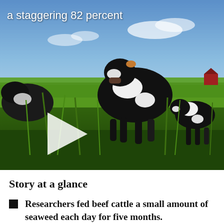[Figure (photo): Video thumbnail showing dairy cows grazing in a green field with a blue sky background. A play button triangle is visible on the left side. White overlay text reads 'a staggering 82 percent'.]
Story at a glance
Researchers fed beef cattle a small amount of seaweed each day for five months.
Cows that were fed the seaweed